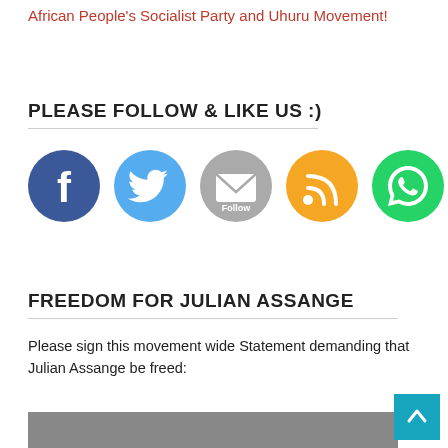African People's Socialist Party and Uhuru Movement!
PLEASE FOLLOW & LIKE US :)
[Figure (illustration): Row of five social media icon circles: Facebook (blue), Twitter (light blue), Follow/Email (grey), RSS (orange), WhatsApp (green)]
FREEDOM FOR JULIAN ASSANGE
Please sign this movement wide Statement demanding that Julian Assange be freed:
[Figure (photo): Partial photo of a person, cropped at bottom of page]